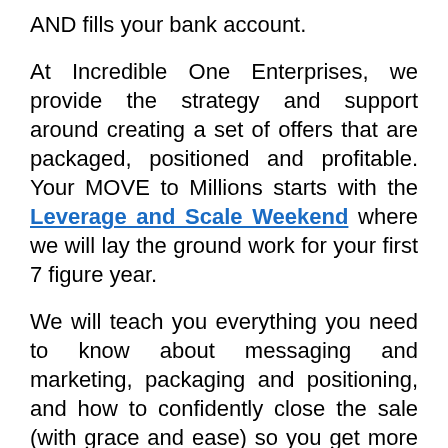AND fills your bank account.
At Incredible One Enterprises, we provide the strategy and support around creating a set of offers that are packaged, positioned and profitable. Your MOVE to Millions starts with the Leverage and Scale Weekend where we will lay the ground work for your first 7 figure year.
We will teach you everything you need to know about messaging and marketing, packaging and positioning, and how to confidently close the sale (with grace and ease) so you get more clients and start making more in one month than